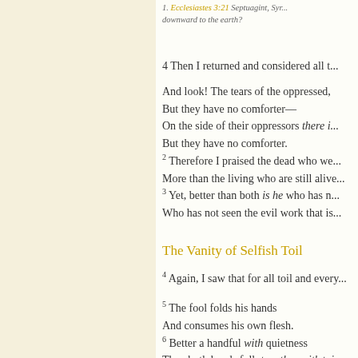1. Ecclesiastes 3:21 Septuagint, Syr... downward to the earth?
4 Then I returned and considered all t...
And look! The tears of the oppressed,
But they have no comforter—
On the side of their oppressors there i...
But they have no comforter.
2 Therefore I praised the dead who we...
More than the living who are still alive...
3 Yet, better than both is he who has n...
Who has not seen the evil work that is...
The Vanity of Selfish Toil
4 Again, I saw that for all toil and every...
5 The fool folds his hands
And consumes his own flesh.
6 Better a handful with quietness
Than both hands full, together with toi...
7 Then I returned, and I saw vanity un-...
8 There is one alone, without compani...
He has neither son nor brother...